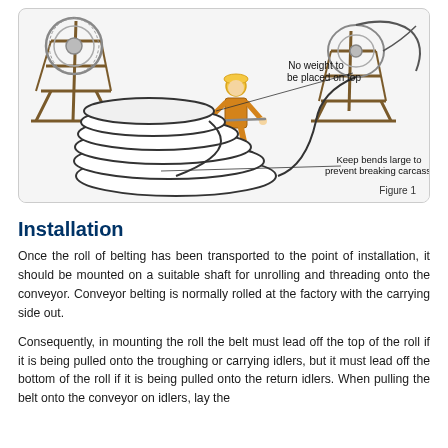[Figure (illustration): Illustration showing conveyor belt installation process. A worker in yellow hard hat and orange overalls is pulling belt off a large reel mounted on a wooden frame (left). Another wooden reel structure is shown on the right. The belt is coiled in large loops on the ground. Text annotations read: 'No weight to be placed on top' and 'Keep bends large to prevent breaking carcass'. Label 'Figure 1' appears at bottom right.]
Figure 1
Installation
Once the roll of belting has been transported to the point of installation, it should be mounted on a suitable shaft for unrolling and threading onto the conveyor. Conveyor belting is normally rolled at the factory with the carrying side out.
Consequently, in mounting the roll the belt must lead off the top of the roll if it is being pulled onto the troughing or carrying idlers, but it must lead off the bottom of the roll if it is being pulled onto the return idlers. When pulling the belt onto the conveyor on idlers, lay the...